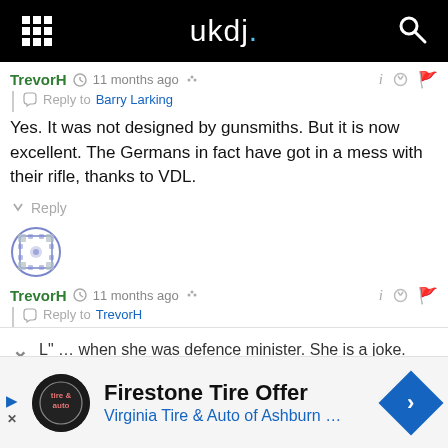ukdj.
TrevorH  11 months ago
Reply to Barry Larking
Yes. It was not designed by gunsmiths. But it is now excellent. The Germans in fact have got in a mess with their rifle, thanks to VDL.
Reply
[Figure (illustration): User avatar icon: circular decorative pattern in blue and grey]
TrevorH  11 months ago
Reply to TrevorH
L" … when she was defence minister. She is a joke.
Firestone Tire Offer
Virginia Tire & Auto of Ashburn …